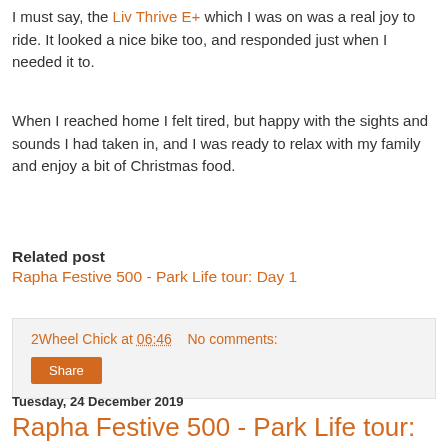I must say, the Liv Thrive E+ which I was on was a real joy to ride. It looked a nice bike too, and responded just when I needed it to.
When I reached home I felt tired, but happy with the sights and sounds I had taken in, and I was ready to relax with my family and enjoy a bit of Christmas food.
Related post
Rapha Festive 500 - Park Life tour: Day 1
2Wheel Chick at 06:46   No comments:
Share
Tuesday, 24 December 2019
Rapha Festive 500 - Park Life tour: